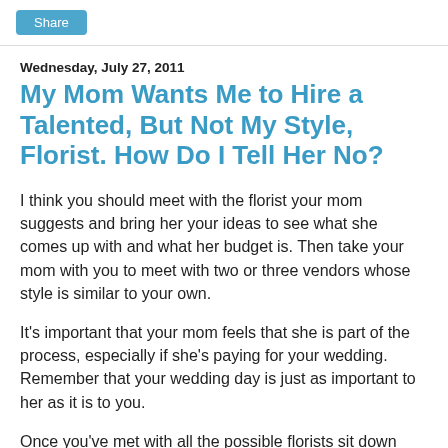Share
Wednesday, July 27, 2011
My Mom Wants Me to Hire a Talented, But Not My Style, Florist. How Do I Tell Her No?
I think you should meet with the florist your mom suggests and bring her your ideas to see what she comes up with and what her budget is. Then take your mom with you to meet with two or three vendors whose style is similar to your own.
It's important that your mom feels that she is part of the process, especially if she's paying for your wedding. Remember that your wedding day is just as important to her as it is to you.
Once you've met with all the possible florists sit down with your mom and go over what each one proposes aesthetically as well as their budget. Review with her why you like or don't